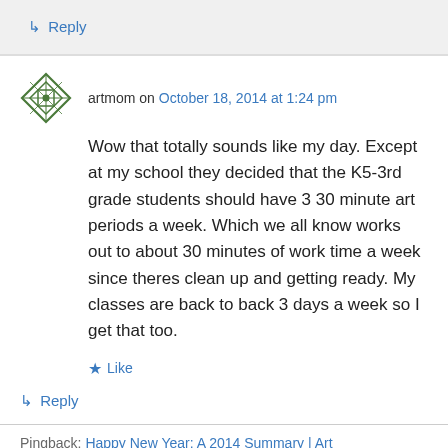↳ Reply
artmom on October 18, 2014 at 1:24 pm
Wow that totally sounds like my day. Except at my school they decided that the K5-3rd grade students should have 3 30 minute art periods a week. Which we all know works out to about 30 minutes of work time a week since theres clean up and getting ready. My classes are back to back 3 days a week so I get that too.
★ Like
↳ Reply
Pingback: Happy New Year: A 2014 Summary | Art